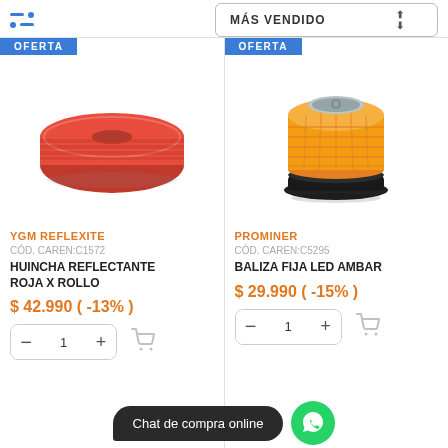MÁS VENDIDO
[Figure (photo): Red reflective tape roll, cylindrical shape, left product card]
YGM REFLEXITE
CÓD. CAREN:C1572
HUINCHA REFLECTANTE ROJA X ROLLO
$ 42.990 ( -13% )
[Figure (photo): Orange amber LED beacon/strobe light, circular dome shape, right product card]
PROMINER
CÓD. CAREN:C5295
BALIZA FIJA LED AMBAR
$ 29.990 ( -15% )
Chat de compra online